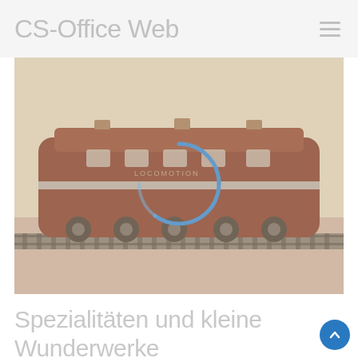CS-Office Web
[Figure (photo): A model train locomotive (brown/maroon electric engine) on tracks, with a blue circular loading spinner overlay in the center of the image. Background has a warm yellowish-beige tone.]
Spezialitäten und kleine Wunderwerke